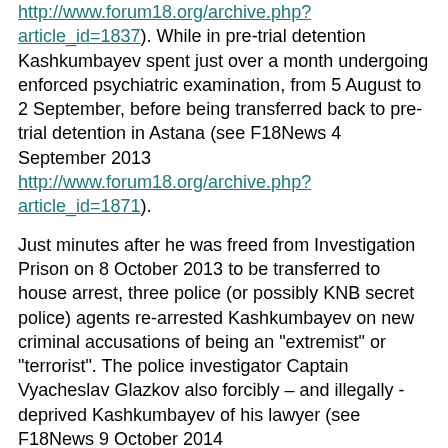http://www.forum18.org/archive.php?article_id=1837). While in pre-trial detention Kashkumbayev spent just over a month undergoing enforced psychiatric examination, from 5 August to 2 September, before being transferred back to pre-trial detention in Astana (see F18News 4 September 2013 http://www.forum18.org/archive.php?article_id=1871).
Just minutes after he was freed from Investigation Prison on 8 October 2013 to be transferred to house arrest, three police (or possibly KNB secret police) agents re-arrested Kashkumbayev on new criminal accusations of being an "extremist" or "terrorist". The police investigator Captain Vyacheslav Glazkov also forcibly – and illegally - deprived Kashkumbayev of his lawyer (see F18News 9 October 2014 http://www.forum18.org/archive.php?article_id=1885).
Raids part of same case
The authorities have long been seeking to punish the leaders of his Presbyterian Grace Church, but the reason or reasons for this remain unclear. Masked